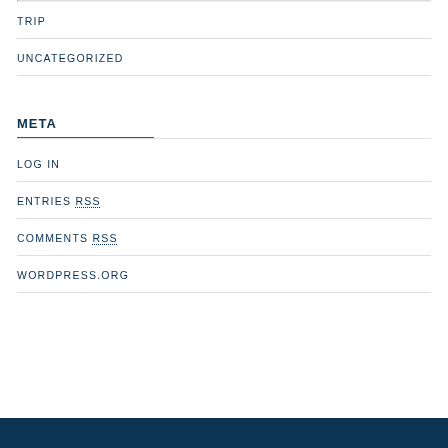TRIP
UNCATEGORIZED
META
LOG IN
ENTRIES RSS
COMMENTS RSS
WORDPRESS.ORG